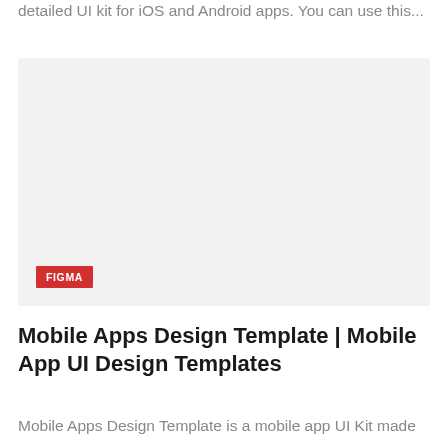detailed UI kit for iOS and Android apps. You can use this...
[Figure (screenshot): A large light gray placeholder image block with a red FIGMA label badge in the bottom-left corner]
Mobile Apps Design Template | Mobile App UI Design Templates
Mobile Apps Design Template is a mobile app UI Kit made